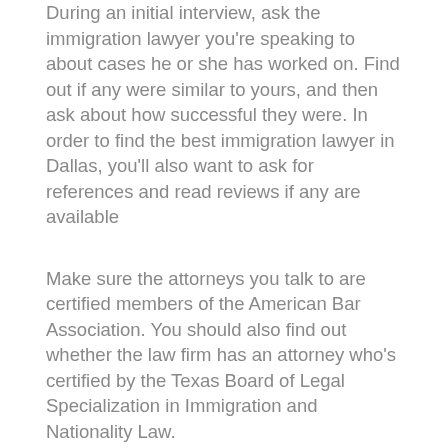During an initial interview, ask the immigration lawyer you're speaking to about cases he or she has worked on. Find out if any were similar to yours, and then ask about how successful they were. In order to find the best immigration lawyer in Dallas, you'll also want to ask for references and read reviews if any are available
Make sure the attorneys you talk to are certified members of the American Bar Association. You should also find out whether the law firm has an attorney who's certified by the Texas Board of Legal Specialization in Immigration and Nationality Law.
Find out if the appropriate certifications are in place. If not, you should begin to search elsewhere. The best immigration lawyer in Dallas will be a member of the American Bar Association – and the firm where that attorney works, if not the attorney him- or herself, should have someone who's certified by the Texas Board of Legal Specialization in